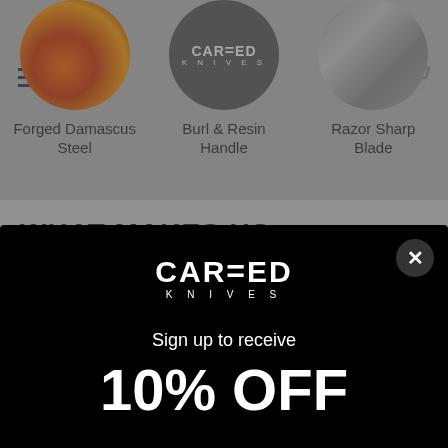[Figure (screenshot): Website screenshot of Carved Knives page with three circular feature images (Forged Damascus Steel, Burl & Resin Handle, Razor Sharp Blade), a section header 'WHAT MAKES US DIFFERENT?', partial text, and a popup modal with Carved Knives logo, 'Sign up to receive', and '10% OFF' offer.]
Forged Damascus Steel
Burl & Resin Handle
Razor Sharp Blade
WHAT MAKES US DIFFERENT?
Carved Knives are hand forged, ground and sharpened
Sign up to receive
10% OFF